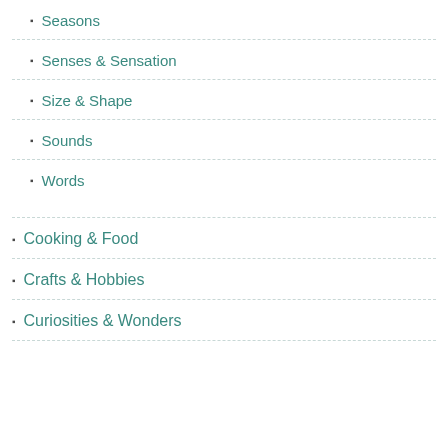Seasons
Senses & Sensation
Size & Shape
Sounds
Words
Cooking & Food
Crafts & Hobbies
Curiosities & Wonders